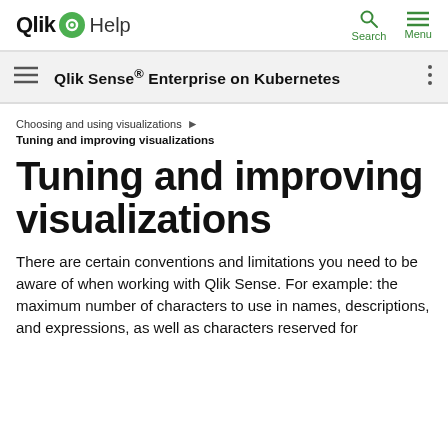Qlik Help | Search | Menu
Qlik Sense® Enterprise on Kubernetes
Choosing and using visualizations ▶ Tuning and improving visualizations
Tuning and improving visualizations
There are certain conventions and limitations you need to be aware of when working with Qlik Sense. For example: the maximum number of characters to use in names, descriptions, and expressions, as well as characters reserved for